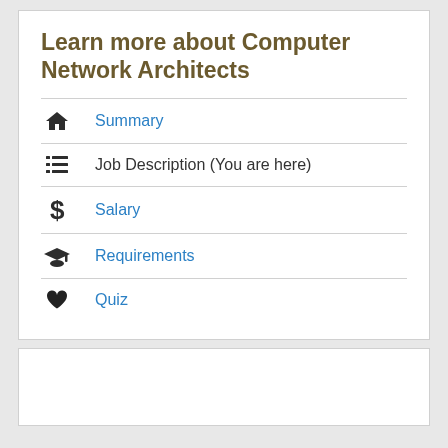Learn more about Computer Network Architects
Summary
Job Description (You are here)
Salary
Requirements
Quiz